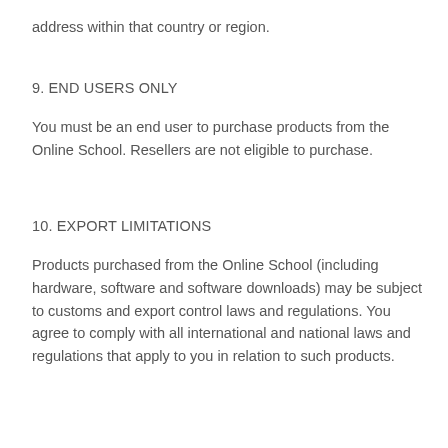address within that country or region.
9. END USERS ONLY
You must be an end user to purchase products from the Online School. Resellers are not eligible to purchase.
10. EXPORT LIMITATIONS
Products purchased from the Online School (including hardware, software and software downloads) may be subject to customs and export control laws and regulations. You agree to comply with all international and national laws and regulations that apply to you in relation to such products.